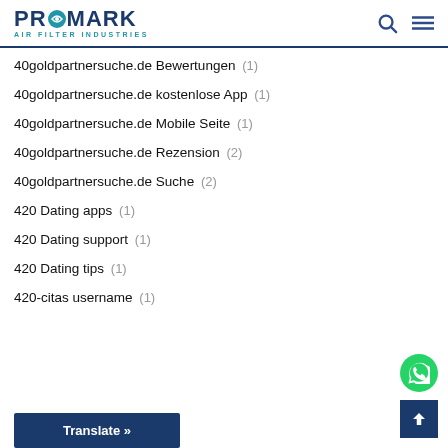PROMARK AIR FILTER INDUSTRIES
40goldpartnersuche.de Bewertungen (1)
40goldpartnersuche.de kostenlose App (1)
40goldpartnersuche.de Mobile Seite (1)
40goldpartnersuche.de Rezension (2)
40goldpartnersuche.de Suche (2)
420 Dating apps (1)
420 Dating support (1)
420 Dating tips (1)
420-citas username (1)